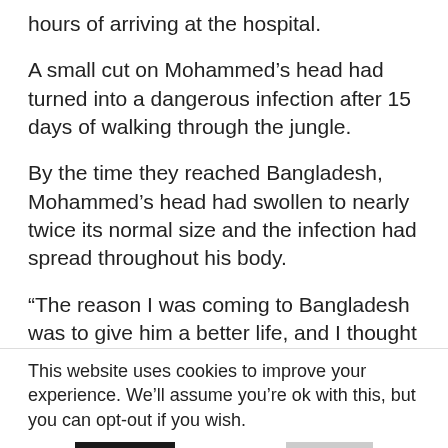hours of arriving at the hospital.
A small cut on Mohammed’s head had turned into a dangerous infection after 15 days of walking through the jungle.
By the time they reached Bangladesh, Mohammed’s head had swollen to nearly twice its normal size and the infection had spread throughout his body.
“The reason I was coming to Bangladesh was to give him a better life, and I thought he was going to die,” said Shanna, who was sent by doctors in the refugee camp to the hospital. There medical personnel
This website uses cookies to improve your experience. We’ll assume you’re ok with this, but you can opt-out if you wish.